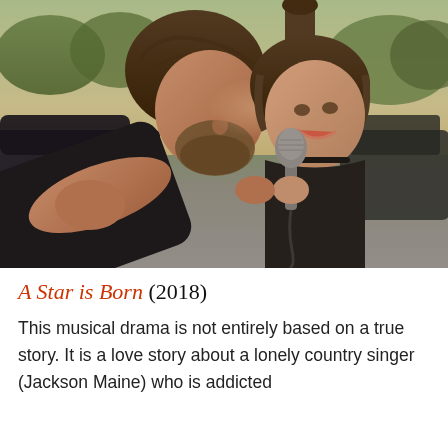[Figure (photo): A romantic scene from the 2018 film 'A Star is Born' showing two people — a bearded man in black leaning close and a woman with dark hair in a ponytail wearing a black top — with their foreheads nearly touching as she sings into a microphone. The background appears to be an outdoor parking lot during sunset.]
A Star is Born (2018)
This musical drama is not entirely based on a true story. It is a love story about a lonely country singer (Jackson Maine) who is addicted